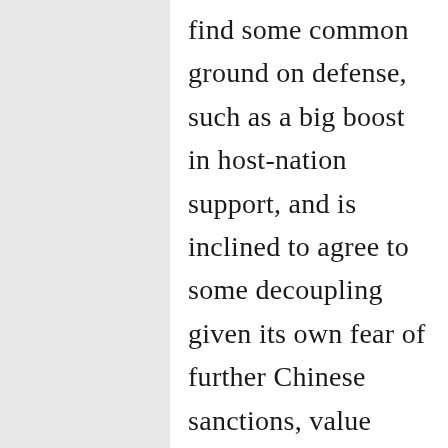find some common ground on defense, such as a big boost in host-nation support, and is inclined to agree to some decoupling given its own fear of further Chinese sanctions, value diplomacy may pose an even more urgent challenge. Trump gave a false sense of security that this did not matter. At the UN South Korea decided no